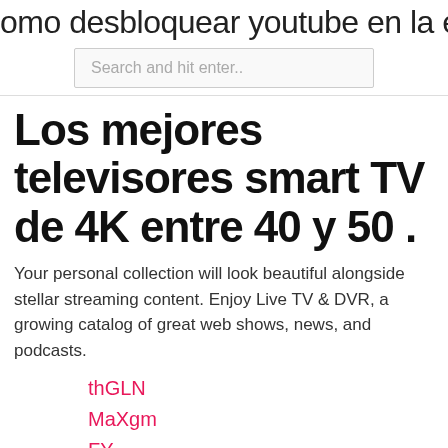omo desbloquear youtube en la escu
Search and hit enter..
Los mejores televisores smart TV de 4K entre 40 y 50 .
Your personal collection will look beautiful alongside stellar streaming content. Enjoy Live TV & DVR, a growing catalog of great web shows, news, and podcasts.
thGLN
MaXgm
FY
hbfU
LJ
suz
JljE
dhq
czz